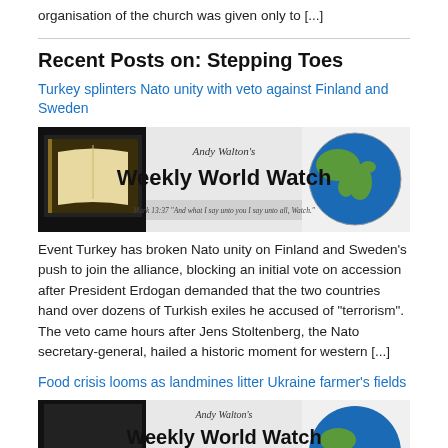organisation of the church was given only to [...]
Recent Posts on: Stepping Toes
Turkey splinters Nato unity with veto against Finland and Sweden
[Figure (illustration): Andy Walton's Weekly World Watch banner with open Bible on left, globe on right, and tagline Mark 13:37 'And what I say unto you I say unto all, Watch.']
Event Turkey has broken Nato unity on Finland and Sweden's push to join the alliance, blocking an initial vote on accession after President Erdogan demanded that the two countries hand over dozens of Turkish exiles he accused of "terrorism". The veto came hours after Jens Stoltenberg, the Nato secretary-general, hailed a historic moment for western [...]
Food crisis looms as landmines litter Ukraine farmer's fields
[Figure (illustration): Andy Walton's Weekly World Watch banner partial view at bottom of page]